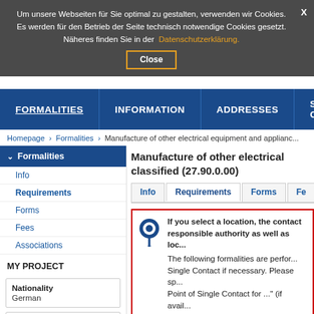Um unsere Webseiten für Sie optimal zu gestalten, verwenden wir Cookies. Es werden für den Betrieb der Seite technisch notwendige Cookies gesetzt. Näheres finden Sie in der Datenschutzerklärung.
Close
FORMALITIES | INFORMATION | ADDRESSES | SECURE C
Homepage › Formalities › Manufacture of other electrical equipment and applianc...
Formalities
Info
Requirements
Forms
Fees
Associations
MY PROJECT
Nationality
German
Service
Manufacture of other electrical equipment and appliances not...
Manufacture of other electrical classified (27.90.0.00)
Info | Requirements | Forms | Fe...
If you select a location, the contact responsible authority as well as loc...
The following formalities are performed... Single Contact if necessary. Please sp... Point of Single Contact for ..." (if avail... displayed. The contact details of the c...
Formalities according to the Se...